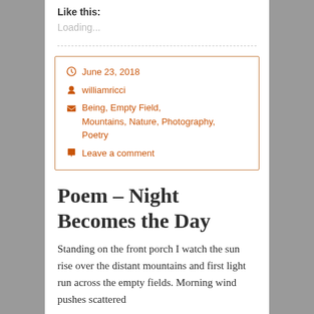Like this:
Loading...
June 23, 2018
williamricci
Being, Empty Field, Mountains, Nature, Photography, Poetry
Leave a comment
Poem – Night Becomes the Day
Standing on the front porch I watch the sun rise over the distant mountains and first light run across the empty fields. Morning wind pushes scattered